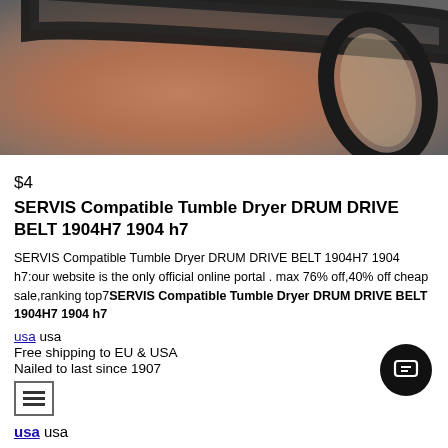[Figure (photo): Close-up photo of a black rubber drum drive belt coiled and laid flat on a brown/grey surface]
$4
SERVIS Compatible Tumble Dryer DRUM DRIVE BELT 1904H7 1904 h7
SERVIS Compatible Tumble Dryer DRUM DRIVE BELT 1904H7 1904 h7:our website is the only official online portal . max 76% off,40% off cheap sale,ranking top7SERVIS Compatible Tumble Dryer DRUM DRIVE BELT 1904H7 1904 h7
usa usa
Free shipping to EU & USA
Nailed to last since 1907
usa usa